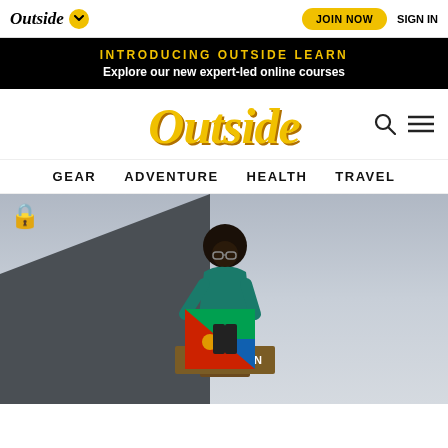Outside — JOIN NOW  SIGN IN
INTRODUCING OUTSIDE LEARN
Explore our new expert-led online courses
Outside
GEAR  ADVENTURE  HEALTH  TRAVEL
[Figure (photo): Person holding an Eritrean flag at a mountain summit marker sign reading KATAHDIN, with overcast sky in background. A lock icon appears in the top-left corner of the image.]